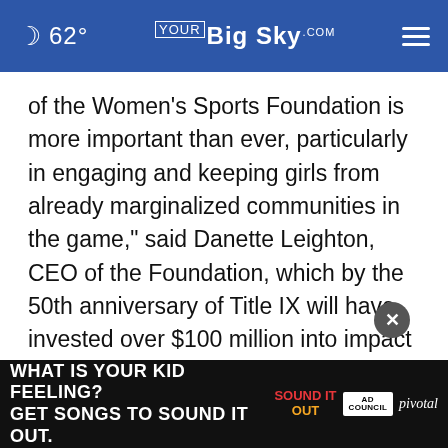62° YourBigSky.com
of the Women's Sports Foundation is more important than ever, particularly in engaging and keeping girls from already marginalized communities in the game," said Danette Leighton, CEO of the Foundation, which by the 50th anniversary of Title IX will have invested over $100 million into impact programming to expand access and opportunities for girls and women in sport. "As we commemorate this importance... acknowledge it as a stepping stone in our
[Figure (other): Advertisement banner at bottom of page: 'WHAT IS YOUR KID FEELING? GET SONGS TO SOUND IT OUT.' with colorful Sound It Out logo, Ad Council logo, and Pivotal branding]